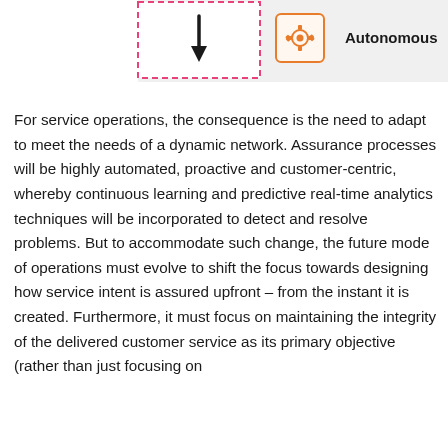[Figure (infographic): Partial diagram showing a downward arrow inside a box with a pink dashed border on the left, and a gear/settings icon in an orange box with the label 'Autonomous' on the right, on a light grey background.]
For service operations, the consequence is the need to adapt to meet the needs of a dynamic network. Assurance processes will be highly automated, proactive and customer-centric, whereby continuous learning and predictive real-time analytics techniques will be incorporated to detect and resolve problems. But to accommodate such change, the future mode of operations must evolve to shift the focus towards designing how service intent is assured upfront – from the instant it is created. Furthermore, it must focus on maintaining the integrity of the delivered customer service as its primary objective (rather than just focusing on